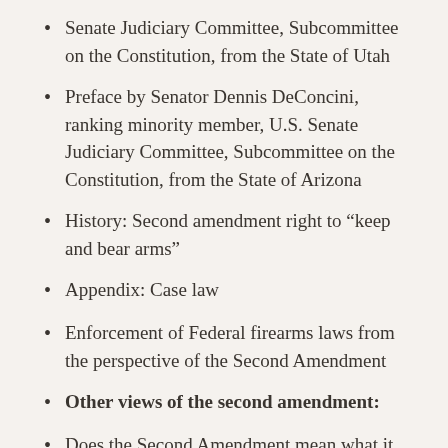Senate Judiciary Committee, Subcommittee on the Constitution, from the State of Utah
Preface by Senator Dennis DeConcini, ranking minority member, U.S. Senate Judiciary Committee, Subcommittee on the Constitution, from the State of Arizona
History: Second amendment right to “keep and bear arms”
Appendix: Case law
Enforcement of Federal firearms laws from the perspective of the Second Amendment
Other views of the second amendment:
Does the Second Amendment mean what it says?, by David J. Steinberg, executive director, National Council for Responsible Firearms policy